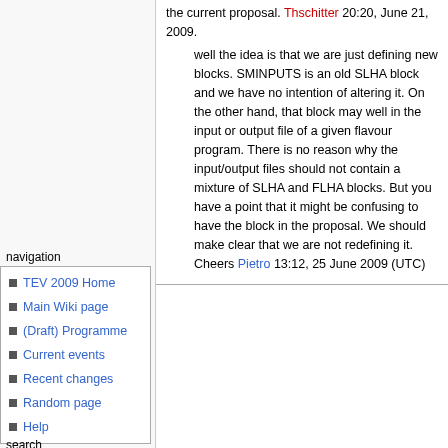the current proposal. [red-link] 20:20, June 21, 2009.
well the idea is that we are just defining new blocks. SMINPUTS is an old SLHA block and we have no intention of altering it. On the other hand, that block may well in the input or output file of a given flavour program. There is no reason why the input/output files should not contain a mixture of SLHA and FLHA blocks. But you have a point that it might be confusing to have the block in the proposal. We should make clear that we are not redefining it. Cheers Pietro 13:12, 25 June 2009 (UTC)
navigation
TEV 2009 Home
Main Wiki page
(Draft) Programme
Current events
Recent changes
Random page
Help
search